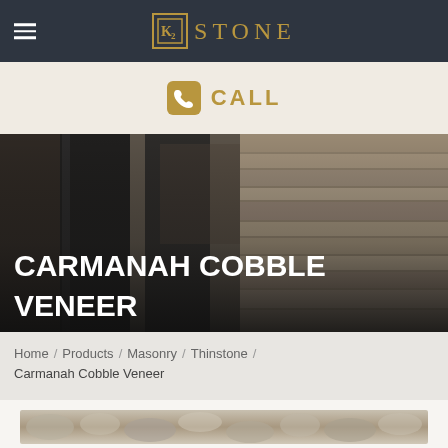K2 STONE
CALL
[Figure (photo): Interior photo showing stone veneer wall and polished dark columns with natural light from windows]
CARMANAH COBBLE VENEER
Home / Products / Masonry / Thinstone / Carmanah Cobble Veneer
[Figure (photo): Close-up photo of Carmanah Cobble Veneer stone texture]